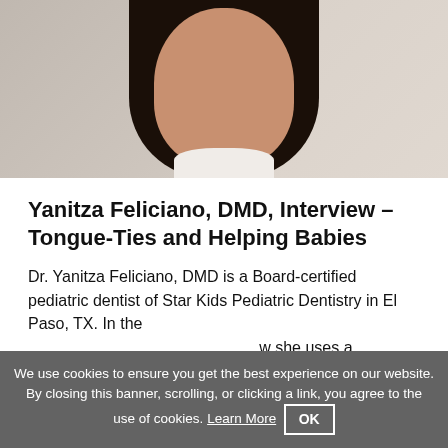[Figure (photo): Close-up photo of a woman (Dr. Yanitza Feliciano) with long dark hair, cropped at the face/neck area, with a light background and a lamp visible at top center.]
Yanitza Feliciano, DMD, Interview – Tongue-Ties and Helping Babies
Dr. Yanitza Feliciano, DMD is a Board-certified pediatric dentist of Star Kids Pediatric Dentistry in El Paso, TX. In the …w she uses a LightScalpel
Like Us On Facebook!
We use cookies to ensure you get the best experience on our website. By closing this banner, scrolling, or clicking a link, you agree to the use of cookies. Learn More  OK